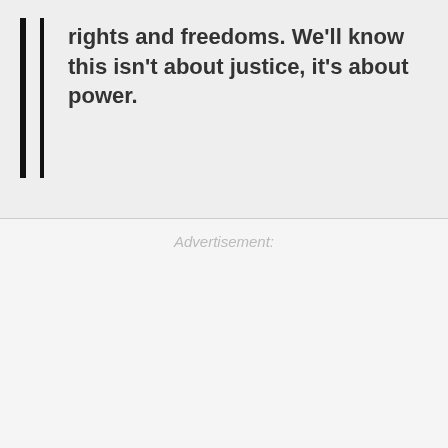rights and freedoms. We'll know this isn't about justice, it's about power.
Advertisement: